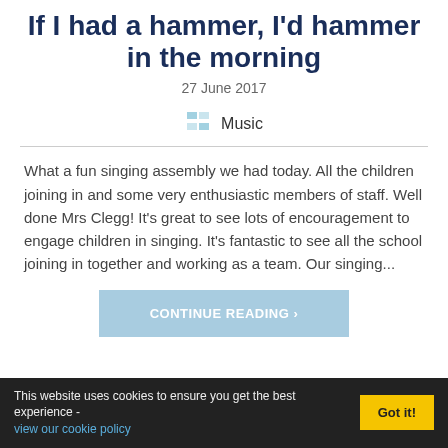If I had a hammer, I'd hammer in the morning
27 June 2017
[Figure (other): Category icon for Music with a small grid/table icon in light blue]
Music
What a fun singing assembly we had today. All the children joining in and some very enthusiastic members of staff. Well done Mrs Clegg! It's great to see lots of encouragement to engage children in singing. It's fantastic to see all the school joining in together and working as a team. Our singing...
CONTINUE READING ›
This website uses cookies to ensure you get the best experience - view our cookie policy  Got it!